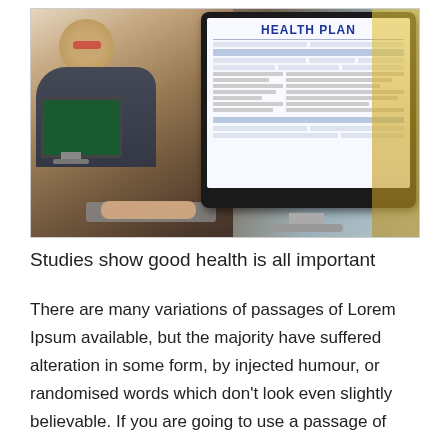[Figure (photo): A woman with glasses sitting at a desk, typing on a keyboard, with a large desktop monitor displaying a 'HEALTH PLAN' form document on screen. A smaller green-screened monitor is visible to the left.]
Studies show good health is all important
There are many variations of passages of Lorem Ipsum available, but the majority have suffered alteration in some form, by injected humour, or randomised words which don't look even slightly believable. If you are going to use a passage of